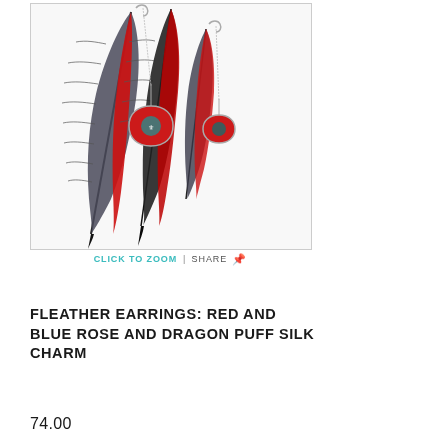[Figure (photo): Product photo of feather earrings with red and black feathers and decorative silk charm pendants with rose and dragon puff designs, displayed on white background]
CLICK TO ZOOM | SHARE
FLEATHER EARRINGS: RED AND BLUE ROSE AND DRAGON PUFF SILK CHARM
74.00